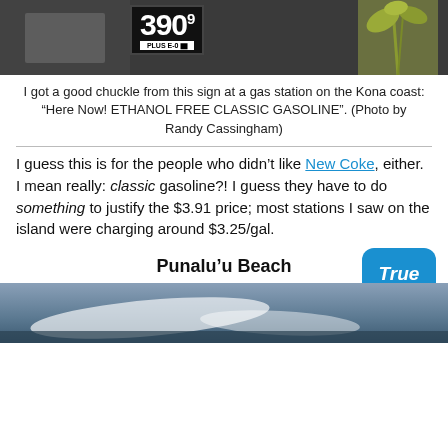[Figure (photo): Gas station sign showing price 390 9/10 cents for PLUS E-0, with palm tree/plant visible on right side, dark background]
I got a good chuckle from this sign at a gas station on the Kona coast: “Here Now! ETHANOL FREE CLASSIC GASOLINE”. (Photo by Randy Cassingham)
I guess this is for the people who didn’t like New Coke, either. I mean really: classic gasoline?! I guess they have to do something to justify the $3.91 price; most stations I saw on the island were charging around $3.25/gal.
Punalu’u Beach
[Figure (photo): Aerial or coastal photo of Punalu'u Beach showing dark sand and ocean waves with white foam]